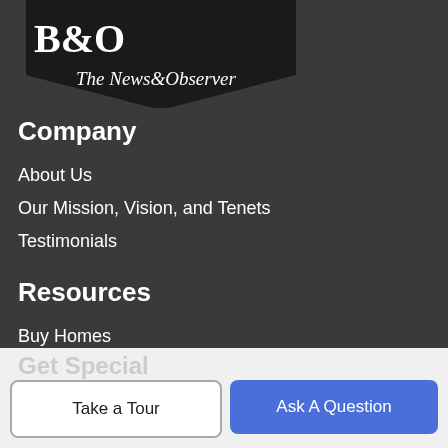[Figure (logo): The News&Observer logo badge - black pentagon/shield shape with 'The News&Observer' text in serif italic font]
Company
About Us
Our Mission, Vision, and Tenets
Testimonials
Resources
Buy Homes
Sell Your Home
Finance
Working with Real Estate Agents
Get Special
Take a Tour
Ask A Question